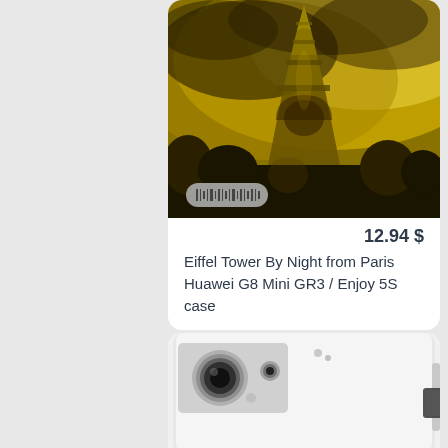[Figure (photo): Phone case product card showing Eiffel Tower By Night photo on a Huawei G8 Mini case, with a barcode pill overlay at the bottom of the phone image]
12.94 $
Eiffel Tower By Night from Paris Huawei G8 Mini GR3 / Enjoy 5S case
[Figure (photo): Second phone case product card showing a white/silver Huawei phone case from the back, partially cut off at bottom of page]